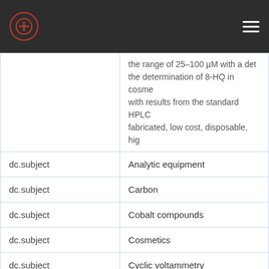| Field | Value |
| --- | --- |
|  | the range of 25–100 µM with a det... the determination of 8-HQ in cosme... with results from the standard HPLC... fabricated, low cost, disposable, hig... |
| dc.subject | Analytic equipment |
| dc.subject | Carbon |
| dc.subject | Cobalt compounds |
| dc.subject | Cosmetics |
| dc.subject | Cyclic voltammetry |
| dc.subject | 8-Hydroxyquinoline |
| dc.subject | Cobalt phthalocyanine |
| dc.subject | Cosmetic products |
| dc.subject | Paper-based analytical devices |